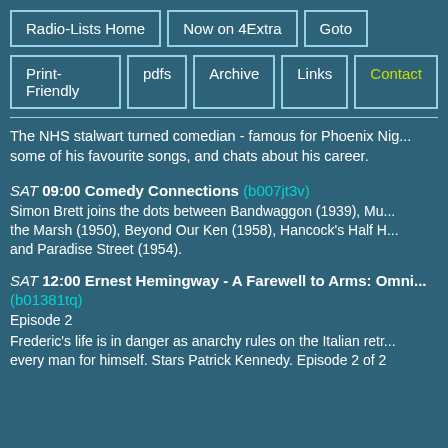Radio-Lists Home
Now on 4Extra
Goto
Print-Friendly
pdfs
Archive
Links
Contact
The NHS stalwart turned comedian - famous for Phoenix Nig... some of his favourite songs, and chats about his career.
SAT 09:00 Comedy Connections (b007jt3v)
Simon Brett joins the dots between Bandwaggon (1939), Mu... the Marsh (1950), Beyond Our Ken (1958), Hancock's Half H... and Paradise Street (1954).
SAT 12:00 Ernest Hemingway - A Farewell to Arms: Omni... (b01381tq)
Episode 2
Frederic's life is in danger as anarchy rules on the Italian retr... every man for himself. Stars Patrick Kennedy. Episode 2 of 2